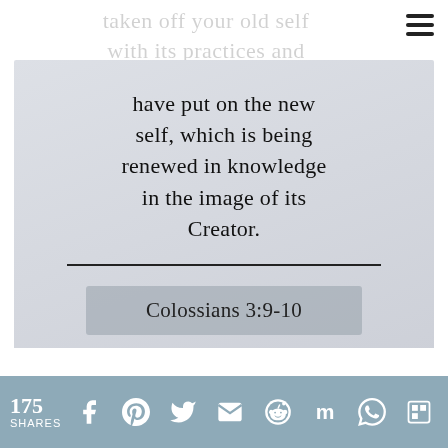[Figure (screenshot): Faded background text reading 'taken off your old self with its practices and' at the top of the page, partially visible behind the main card.]
have put on the new self, which is being renewed in knowledge in the image of its Creator.
Colossians 3:9-10
175 SHARES [social share icons: Facebook, Pinterest, Twitter, Email, Reddit, Mix, WhatsApp, Flipboard]